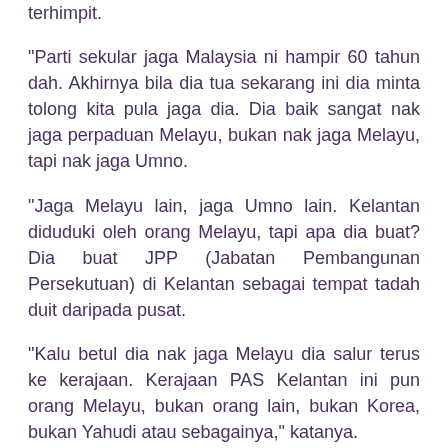terhimpit.
"Parti sekular jaga Malaysia ni hampir 60 tahun dah. Akhirnya bila dia tua sekarang ini dia minta tolong kita pula jaga dia. Dia baik sangat nak jaga perpaduan Melayu, bukan nak jaga Melayu, tapi nak jaga Umno.
"Jaga Melayu lain, jaga Umno lain. Kelantan diduduki oleh orang Melayu, tapi apa dia buat? Dia buat JPP (Jabatan Pembangunan Persekutuan) di Kelantan sebagai tempat tadah duit daripada pusat.
"Kalu betul dia nak jaga Melayu dia salur terus ke kerajaan. Kerajaan PAS Kelantan ini pun orang Melayu, bukan orang lain, bukan Korea, bukan Yahudi atau sebagainya," katanya.
Mengulas lanjut, Menteri Besar itu mendakwa tuduhan kerajaan Islam tidak mampu membawa kemajuan, sengaja dicetuskan oleh golongan